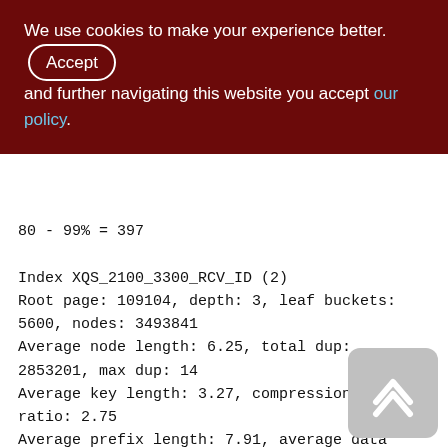We use cookies to make your experience better. By accepting and further navigating this website you accept our policy.
80 - 99% = 397

Index XQS_2100_3300_RCV_ID (2)
Root page: 109104, depth: 3, leaf buckets: 5600, nodes: 3493841
Average node length: 6.25, total dup: 2853201, max dup: 14
Average key length: 3.27, compression ratio: 2.75
Average prefix length: 7.91, average data length: 1.09
Clustering factor: 315592, ratio: 0.09
Fill distribution: